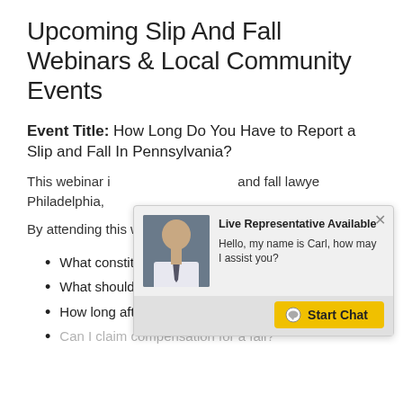Upcoming Slip And Fall Webinars & Local Community Events
Event Title: How Long Do You Have to Report a Slip and Fall In Pennsylvania?
This webinar is presented by a slip and fall lawyer in Philadelphia, PA.
By attending this webinar, you will learn:
[Figure (screenshot): Live chat popup widget showing a photo of a bald man in a white shirt and tie, with text 'Live Representative Available — Hello, my name is Carl, how may I assist you?' and a yellow 'Start Chat' button at the bottom.]
What constitutes a slip and fall?
What should you do after a slip and fall?
How long after a fall can you make a claim?
Can I claim compensation for a fall?